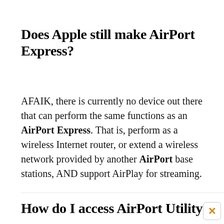Does Apple still make AirPort Express?
AFAIK, there is currently no device out there that can perform the same functions as an AirPort Express. That is, perform as a wireless Internet router, or extend a wireless network provided by another AirPort base stations, AND support AirPlay for streaming.
How do I access AirPort Utility?